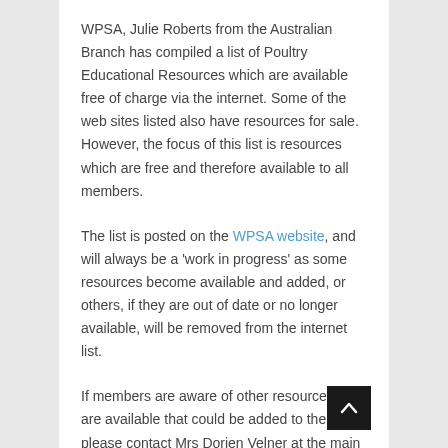WPSA, Julie Roberts from the Australian Branch has compiled a list of Poultry Educational Resources which are available free of charge via the internet. Some of the web sites listed also have resources for sale. However, the focus of this list is resources which are free and therefore available to all members.
The list is posted on the WPSA website, and will always be a 'work in progress' as some resources become available and added, or others, if they are out of date or no longer available, will be removed from the internet list.
If members are aware of other resources that are available that could be added to the list, please contact Mrs Dorien Velner at the main office by email: wpsa@xs4all.nl with the title of the resource, how to access it and a short description.